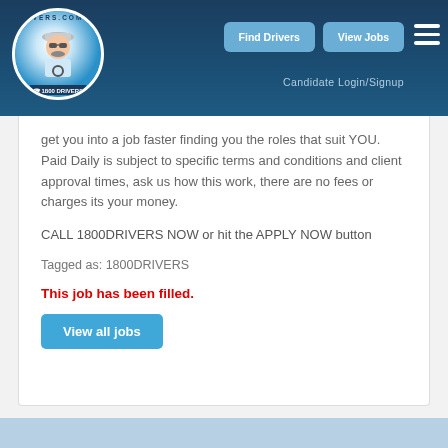[Figure (logo): Drivers.com.au circular logo with driver illustration and '1800 DRIVERS' badge]
Find Drivers  View Jobs  Candidate Login/Signup
get you into a job faster finding you the roles that suit YOU. Paid Daily is subject to specific terms and conditions and client approval times, ask us how this work, there are no fees or charges its your money.
CALL 1800DRIVERS NOW or hit the APPLY NOW button
Tagged as: 1800DRIVERS
This job has been filled.
View all jobs